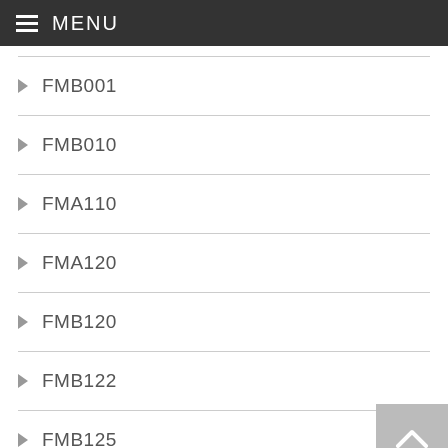MENU
FMB001
FMB010
FMA110
FMA120
FMB120
FMB122
FMB125
FMA202